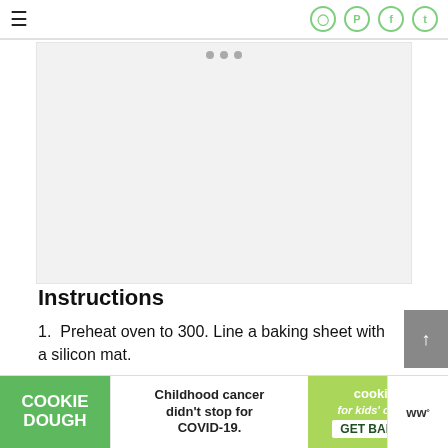≡  [social icons: Instagram, Pinterest, Facebook, Twitter]
[Figure (photo): Image placeholder area with three navigation dots at the top, light gray background]
Instructions
1. Preheat oven to 300. Line a baking sheet with a silicon mat.
2. In the bowl of an electric mixer with
[Figure (other): Advertisement banner: COOKIE DOUGH | Childhood cancer didn't stop for COVID-19. | cookies for kids' cancer GET BAKING | with brand logo]